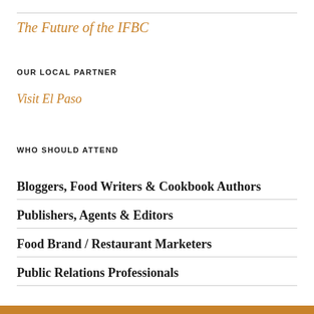The Future of the IFBC
OUR LOCAL PARTNER
Visit El Paso
WHO SHOULD ATTEND
Bloggers, Food Writers & Cookbook Authors
Publishers, Agents & Editors
Food Brand / Restaurant Marketers
Public Relations Professionals